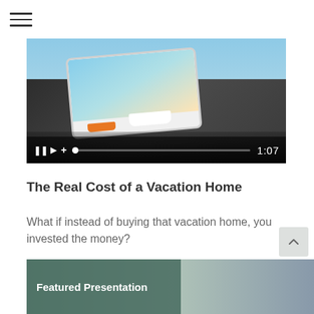[Figure (screenshot): Mobile phone being held in a hand displaying a vacation scene with boats and water, shown as a video player with pause, play, volume controls and a progress bar showing 1:07 timestamp]
The Real Cost of a Vacation Home
What if instead of buying that vacation home, you invested the money?
[Figure (screenshot): Partial thumbnail of a Featured Presentation video with a teal/green overlay label]